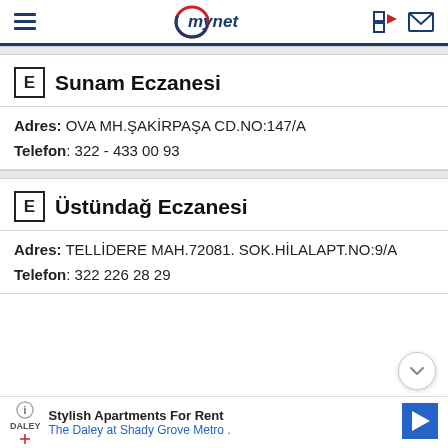mynet
E Sunam Eczanesi
Adres: OVA MH.ŞAKİRPAŞA CD.NO:147/A
Telefon: 322 - 433 00 93
E Üstündağ Eczanesi
Adres: TELLİDERE MAH.72081. SOK.HİLALAPT.NO:9/A
Telefon: 322 226 28 29
Stylish Apartments For Rent
The Daley at Shady Grove Metro .